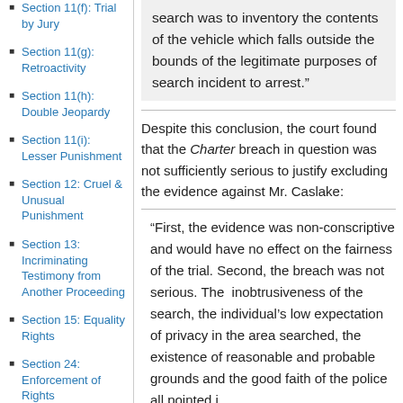Section 11(f): Trial by Jury
Section 11(g): Retroactivity
Section 11(h): Double Jeopardy
Section 11(i): Lesser Punishment
Section 12: Cruel & Unusual Punishment
Section 13: Incriminating Testimony from Another Proceeding
Section 15: Equality Rights
Section 24: Enforcement of Rights
search was to inventory the contents of the vehicle which falls outside the bounds of the legitimate purposes of search incident to arrest.”
Despite this conclusion, the court found that the Charter breach in question was not sufficiently serious to justify excluding the evidence against Mr. Caslake:
“First, the evidence was non-conscriptive and would have no effect on the fairness of the trial. Second, the breach was not serious. The inobtrusiveness of the search, the individual’s low expectation of privacy in the area searched, the existence of reasonable and probable grounds and the good faith of the police all pointed i…